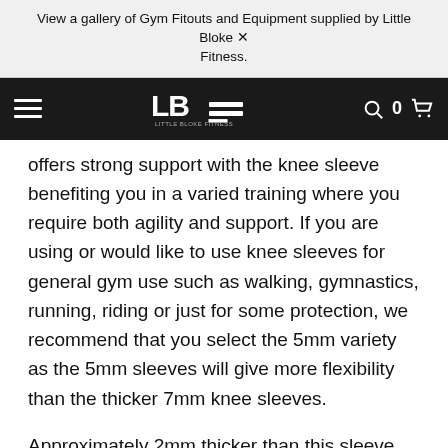View a gallery of Gym Fitouts and Equipment supplied by Little Bloke X Fitness.
LBF — Little Bloke Fitness navigation bar with hamburger menu, logo, search, cart (0)
offers strong support with the knee sleeve benefiting you in a varied training where you require both agility and support. If you are using or would like to use knee sleeves for general gym use such as walking, gymnastics, running, riding or just for some protection, we recommend that you select the 5mm variety as the 5mm sleeves will give more flexibility than the thicker 7mm knee sleeves.
Approximately 2mm thicker than this sleeve, the 7mm Sleeves provide a firm, comfortable fit up to the challenge of power lifts, olympic weightlifting or strongman/women training.
The construction of the product is build on a unique patent, securing its anatomical fit. The shape allows the